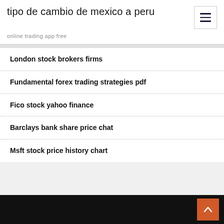tipo de cambio de mexico a peru
online trading app free
London stock brokers firms
Fundamental forex trading strategies pdf
Fico stock yahoo finance
Barclays bank share price chat
Msft stock price history chart